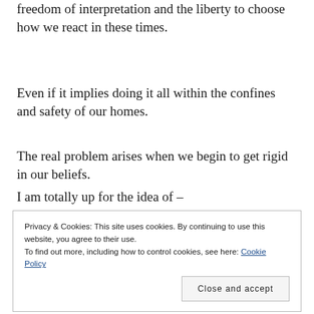freedom of interpretation and the liberty to choose how we react in these times.
Even if it implies doing it all within the confines and safety of our homes.
The real problem arises when we begin to get rigid in our beliefs.
I am totally up for the idea of –
Privacy & Cookies: This site uses cookies. By continuing to use this website, you agree to their use.
To find out more, including how to control cookies, see here: Cookie Policy
Close and accept